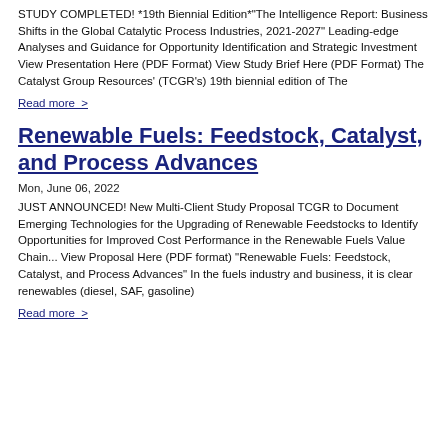STUDY COMPLETED! *19th Biennial Edition*"The Intelligence Report: Business Shifts in the Global Catalytic Process Industries, 2021-2027" Leading-edge Analyses and Guidance for Opportunity Identification and Strategic Investment View Presentation Here (PDF Format) View Study Brief Here (PDF Format) The Catalyst Group Resources' (TCGR's) 19th biennial edition of The
Read more >
Renewable Fuels: Feedstock, Catalyst, and Process Advances
Mon, June 06, 2022
JUST ANNOUNCED! New Multi-Client Study Proposal TCGR to Document Emerging Technologies for the Upgrading of Renewable Feedstocks to Identify Opportunities for Improved Cost Performance in the Renewable Fuels Value Chain... View Proposal Here (PDF format) "Renewable Fuels: Feedstock, Catalyst, and Process Advances" In the fuels industry and business, it is clear renewables (diesel, SAF, gasoline)
Read more >